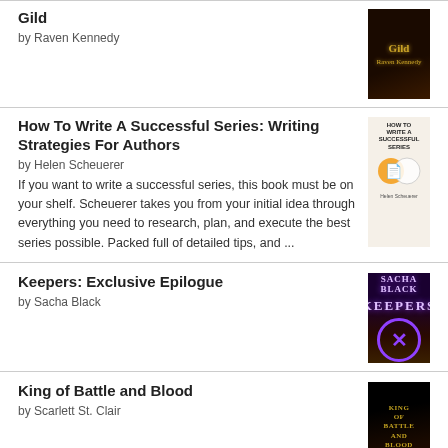Gild by Raven Kennedy
How To Write A Successful Series: Writing Strategies For Authors by Helen Scheuerer. If you want to write a successful series, this book must be on your shelf. Scheuerer takes you from your initial idea through everything you need to research, plan, and execute the best series possible. Packed full of detailed tips, and ...
Keepers: Exclusive Epilogue by Sacha Black
King of Battle and Blood by Scarlett St. Clair
[Figure (logo): Goodreads logo at bottom center]